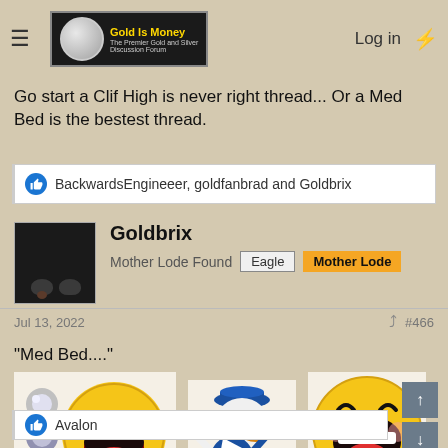Gold Is Money - The Premier Gold and Silver Discussion Forum | Log in
Go start a Clif High is never right thread... Or a Med Bed is the bestest thread.
BackwardsEngineeer, goldfanbrad and Goldbrix
Goldbrix
Mother Lode Found  Eagle  Mother Lode
Jul 13, 2022  #466
"Med Bed...."
[Figure (illustration): Three humorous images: a laughing emoticon with rolling on floor laughing pose with small spheres, a Donald Duck cartoon character laughing, and a large yellow laughing smiley face emoji]
Avalon